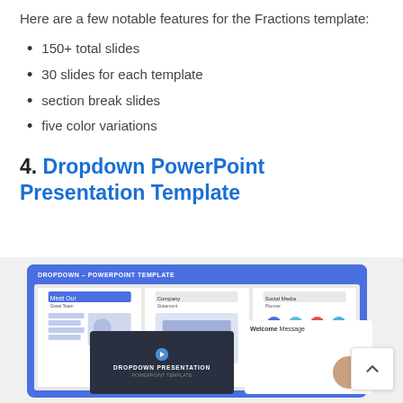Here are a few notable features for the Fractions template:
150+ total slides
30 slides for each template
section break slides
five color variations
4. Dropdown PowerPoint Presentation Template
[Figure (screenshot): Screenshot of the Dropdown PowerPoint Template showing multiple slide previews including Meet Our Great Team, Company Statement, Social Media Planner, a dark Dropdown Presentation title slide, and a Welcome Message slide, all within a blue rounded frame.]